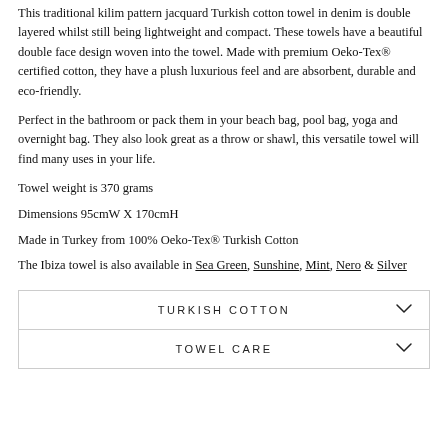This traditional kilim pattern jacquard Turkish cotton towel in denim is double layered whilst still being lightweight and compact. These towels have a beautiful double face design woven into the towel. Made with premium Oeko-Tex® certified cotton, they have a plush luxurious feel and are absorbent, durable and eco-friendly.
Perfect in the bathroom or pack them in your beach bag, pool bag, yoga and overnight bag. They also look great as a throw or shawl, this versatile towel will find many uses in your life.
Towel weight is 370 grams
Dimensions 95cmW X 170cmH
Made in Turkey from 100% Oeko-Tex® Turkish Cotton
The Ibiza towel is also available in Sea Green, Sunshine, Mint, Nero & Silver
TURKISH COTTON
TOWEL CARE